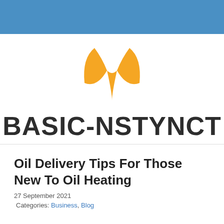[Figure (logo): Basic-Nstynct logo with orange leaf/flame icon above bold dark text reading BASIC-NSTYNCT]
Oil Delivery Tips For Those New To Oil Heating
27 September 2021
Categories: Business, Blog